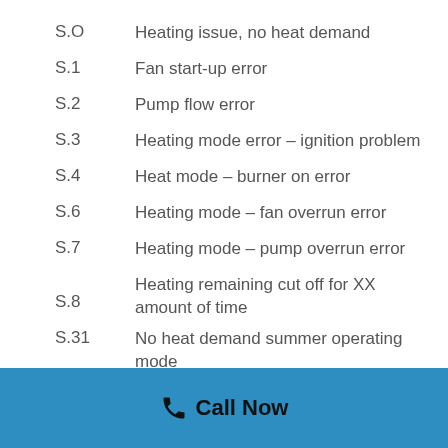S.O  Heating issue, no heat demand
S.1  Fan start-up error
S.2  Pump flow error
S.3  Heating mode error – ignition problem
S.4  Heat mode – burner on error
S.6  Heating mode – fan overrun error
S.7  Heating mode – pump overrun error
S.8  Heating remaining cut off for XX amount of time
S.31  No heat demand summer operating mode
S.34  Heating mode frost protection error
S.20  Hot water requirement error
S.22  Hot water handling pump flow error
Call Now